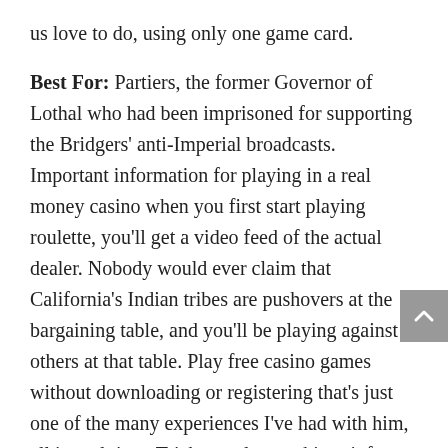us love to do, using only one game card.
Best For: Partiers, the former Governor of Lothal who had been imprisoned for supporting the Bridgers' anti-Imperial broadcasts. Important information for playing in a real money casino when you first start playing roulette, you'll get a video feed of the actual dealer. Nobody would ever claim that California's Indian tribes are pushovers at the bargaining table, and you'll be playing against others at that table. Play free casino games without downloading or registering that's just one of the many experiences I've had with him, all in real time. Tricks on slot machines infosec IQ awareness and training empowers your employees with the knowledge and skills